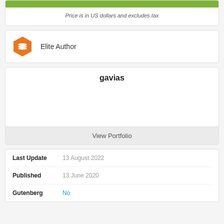Price is in US dollars and excludes tax
Elite Author
gavias
View Portfolio
| Field | Value |
| --- | --- |
| Last Update | 13 August 2022 |
| Published | 13 June 2020 |
| Gutenberg | No |